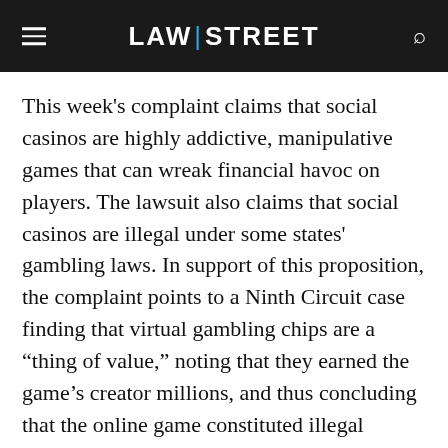LAW|STREET
This week's complaint claims that social casinos are highly addictive, manipulative games that can wreak financial havoc on players. The lawsuit also claims that social casinos are illegal under some states' gambling laws. In support of this proposition, the complaint points to a Ninth Circuit case finding that virtual gambling chips are a “thing of value,” noting that they earned the game’s creator millions, and thus concluding that the online game constituted illegal gambling under Washington law.
The complaint links Facebook to the alleged conspiracy by claiming that it “holds a major (30%) financial interest by hosting the game,